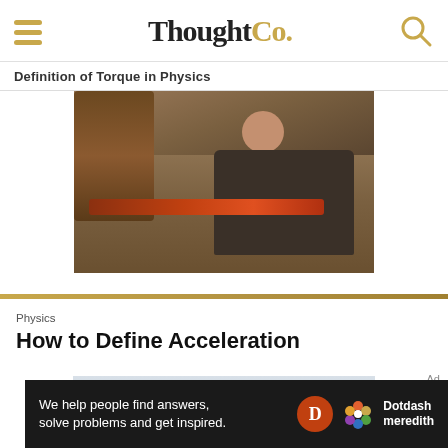ThoughtCo.
Definition of Torque in Physics
[Figure (photo): A mechanic lying on the ground using a large red pipe wrench on heavy machinery]
Physics
How to Define Acceleration
[Figure (photo): Partially visible image for next article about acceleration]
Ad
We help people find answers, solve problems and get inspired.
[Figure (logo): Dotdash Meredith logo with D circle and flower icon]